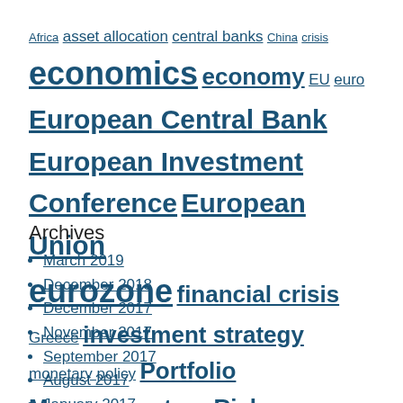Africa  asset allocation  central banks  China  crisis  economics  economy  EU  euro  European Central Bank  European Investment Conference  European Union  eurozone  financial crisis  Greece  investment strategy  monetary policy  Portfolio Management  reform  Risk Management
Archives
March 2019
December 2018
December 2017
November 2017
September 2017
August 2017
January 2017
December 2016
November 2016
October 2016